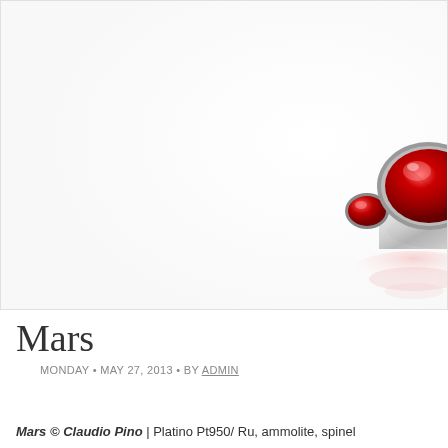[Figure (photo): Photo of a jewelry ring with large red gemstone (ammolite/spinel) set in platinum, with a smaller red stone accent, shown on white background with pink reflection below. Image is cropped showing the right portion of the ring.]
Mars
MONDAY • MAY 27, 2013 • BY ADMIN
Mars © Claudio Pino | Platino Pt950/ Ru, ammolite, spinel...